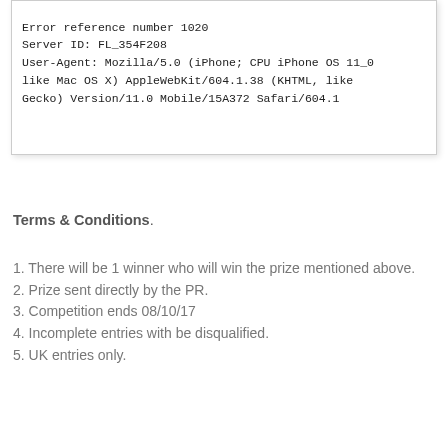[Figure (screenshot): A box with monospace text showing server error details: Error reference number 1020, Server ID: FL_354F208, User-Agent: Mozilla/5.0 (iPhone; CPU iPhone OS 11_0 like Mac OS X) AppleWebKit/604.1.38 (KHTML, like Gecko) Version/11.0 Mobile/15A372 Safari/604.1]
Terms & Conditions.
1. There will be 1 winner who will win the prize mentioned above.
2. Prize sent directly by the PR.
3. Competition ends 08/10/17
4. Incomplete entries with be disqualified.
5. UK entries only.